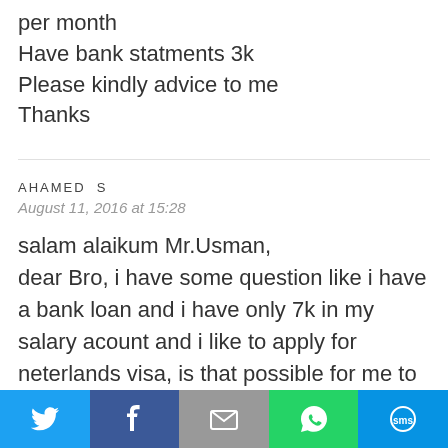per month
Have bank statments 3k
Please kindly advice to me
Thanks
AHAMED S
August 11, 2016 at 15:28
salam alaikum Mr.Usman,
dear Bro, i have some question like i have a bank loan and i have only 7k in my salary acount and i like to apply for neterlands visa, is that possible for me to apply from dubai please can you reply me.